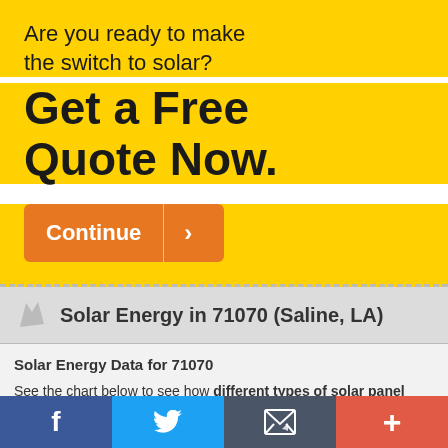Are you ready to make the switch to solar?
Get a Free Quote Now.
[Figure (other): Orange 'Continue' call-to-action button with arrow]
Solar Energy in 71070 (Saline, LA)
Solar Energy Data for 71070
See the chart below to see how different types of solar panel installations compare in 71070.
[Figure (other): Bottom social share bar with Facebook, Twitter, email, and plus buttons]